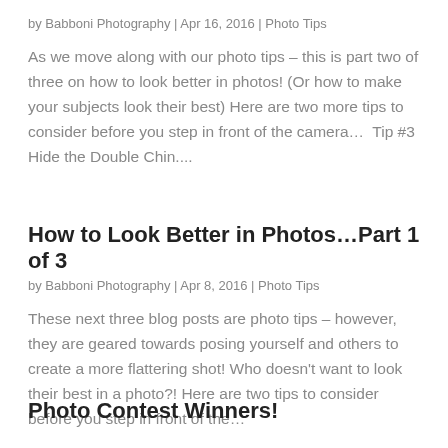by Babboni Photography | Apr 16, 2016 | Photo Tips
As we move along with our photo tips – this is part two of three on how to look better in photos! (Or how to make your subjects look their best) Here are two more tips to consider before you step in front of the camera…  Tip #3  Hide the Double Chin....
How to Look Better in Photos…Part 1 of 3
by Babboni Photography | Apr 8, 2016 | Photo Tips
These next three blog posts are photo tips – however, they are geared towards posing yourself and others to create a more flattering shot! Who doesn't want to look their best in a photo?! Here are two tips to consider before you step in front of the…
Photo Contest Winners!